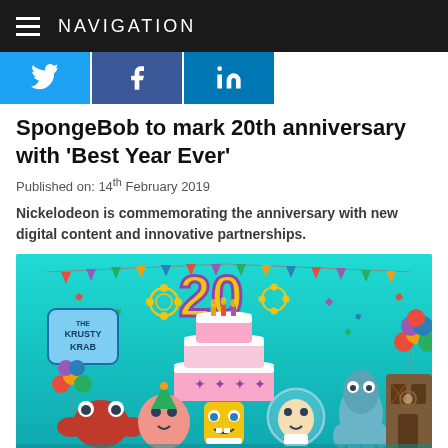NAVIGATION
[Figure (other): Social media share buttons: Twitter (blue bird icon), Facebook (blue f icon), LinkedIn (blue in icon)]
SpongeBob to mark 20th anniversary with 'Best Year Ever'
Published on: 14th February 2019
Nickelodeon is commemorating the anniversary with new digital content and innovative partnerships.
[Figure (illustration): SpongeBob SquarePants 20th anniversary illustration featuring SpongeBob characters (Mr. Krabs, Patrick, SpongeBob, Sandy, Squidward) celebrating with a large birthday cake, balloons, confetti, and a big yellow '20' sign, with The Krusty Krab sign visible in the background, all set underwater with teal-colored water.]